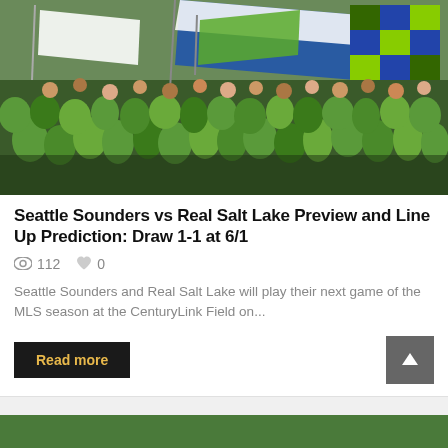[Figure (photo): Crowd of Seattle Sounders fans in green jerseys waving flags including blue/white and green/blue checkered flags at CenturyLink Field]
Seattle Sounders vs Real Salt Lake Preview and Line Up Prediction: Draw 1-1 at 6/1
112   0
Seattle Sounders and Real Salt Lake will play their next game of the MLS season at the CenturyLink Field on...
Read more